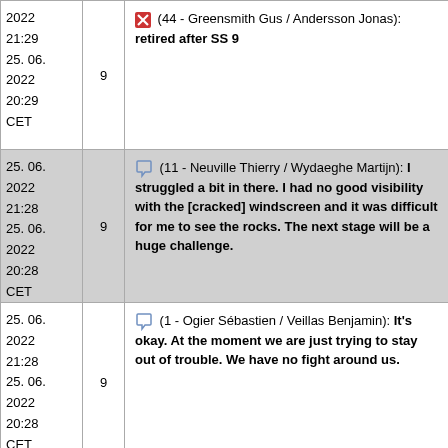| Date/Time | SS | Event |
| --- | --- | --- |
| 2022 21:29 25. 06. 2022 20:29 CET | 9 | (44 - Greensmith Gus / Andersson Jonas): retired after SS 9 |
| 25. 06. 2022 21:28 25. 06. 2022 20:28 CET | 9 | (11 - Neuville Thierry / Wydaeghe Martijn): I struggled a bit in there. I had no good visibility with the [cracked] windscreen and it was difficult for me to see the rocks. The next stage will be a huge challenge. |
| 25. 06. 2022 21:28 25. 06. 2022 20:28 CET | 9 | (1 - Ogier Sébastien / Veillas Benjamin): It's okay. At the moment we are just trying to stay out of trouble. We have no fight around us. |